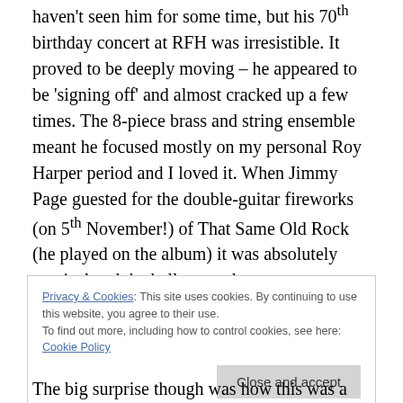haven't seen him for some time, but his 70th birthday concert at RFH was irresistible. It proved to be deeply moving – he appeared to be 'signing off' and almost cracked up a few times. The 8-piece brass and string ensemble meant he focused mostly on my personal Roy Harper period and I loved it. When Jimmy Page guested for the double-guitar fireworks (on 5th November!) of That Same Old Rock (he played on the album) it was absolutely magical and the hall erupted.
I was amazed when they decided on Hammersmith Apollo
Privacy & Cookies: This site uses cookies. By continuing to use this website, you agree to their use.
To find out more, including how to control cookies, see here: Cookie Policy
The big surprise though was how this was a more taster